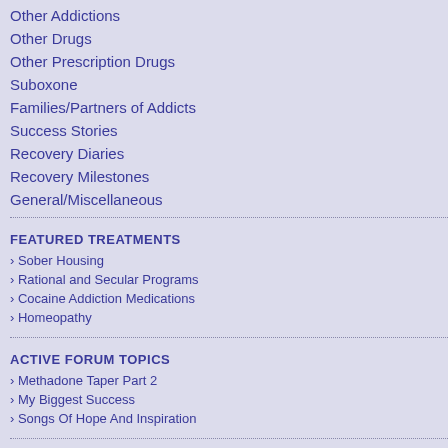Other Addictions
Other Drugs
Other Prescription Drugs
Suboxone
Families/Partners of Addicts
Success Stories
Recovery Diaries
Recovery Milestones
General/Miscellaneous
FEATURED TREATMENTS
Sober Housing
Rational and Secular Programs
Cocaine Addiction Medications
Homeopathy
ACTIVE FORUM TOPICS
Methadone Taper Part 2
My Biggest Success
Songs Of Hope And Inspiration
MOST POPULAR TOPICS
Posts: 6374
Joined: January 5, 2008
Thank God fo
pirate
Posted: August
Just returned
Miracle.A sur
THANK YOU.
https://www.y
Posts: 6374
Joined: January 5, 2008
Thank God fo
pirate
Posted: August
You CAN wall